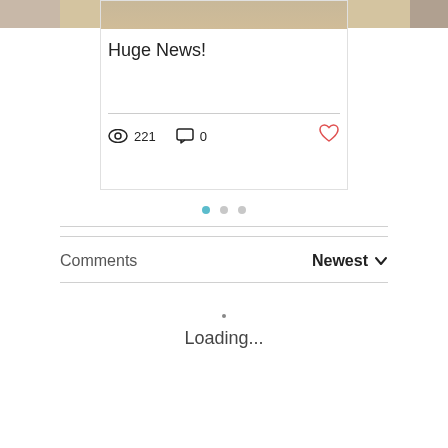[Figure (photo): Top partial image strip showing cropped content on left, center, and right]
Huge News!
👁 221   💬 0   ♡
[Figure (infographic): Three pagination dots: first teal/active, second and third gray/inactive]
Comments   Newest ∨
Loading...